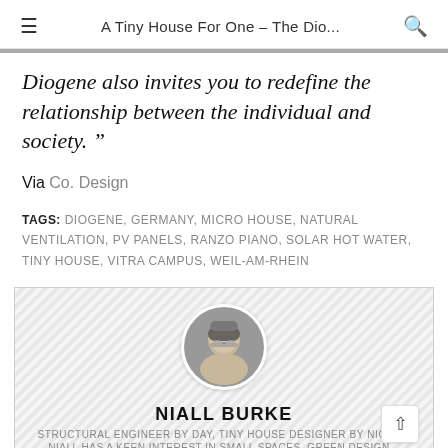A Tiny House For One – The Dio...
Diogene also invites you to redefine the relationship between the individual and society."
Via Co. Design
TAGS: DIOGENE, GERMANY, MICRO HOUSE, NATURAL VENTILATION, PV PANELS, RANZO PIANO, SOLAR HOT WATER, TINY HOUSE, VITRA CAMPUS, WEIL-AM-RHEIN
[Figure (photo): Circular profile photo of Niall Burke, a man with glasses and short hair, wearing a hat]
NIALL BURKE
STRUCTURAL ENGINEER BY DAY, TINY HOUSE DESIGNER BY NIGH...
NIALL HAS A KEEN INTEREST IN SMALL SPACES, GREEN DESIGN...